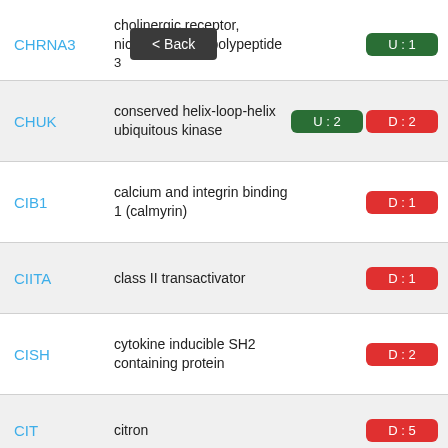CHRNA3 — cholinergic receptor, nicotinic, alpha polypeptide 3 — U: 1
CHUK — conserved helix-loop-helix ubiquitous kinase — U: 2  D: 2
CIB1 — calcium and integrin binding 1 (calmyrin) — D: 1
CIITA — class II transactivator — D: 1
CISH — cytokine inducible SH2 containing protein — D: 2
CIT — citron — D: 5
CKB — creatine kinase, brain — U: 3  D: 2